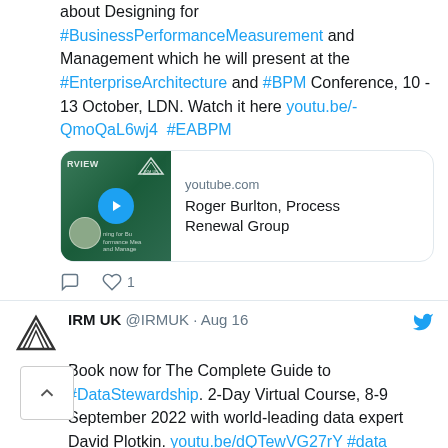about Designing for #BusinessPerformanceMeasurement and Management which he will present at the #EnterpriseArchitecture and #BPM Conference, 10 - 13 October, LDN. Watch it here youtu.be/-QmoQaL6wj4  #EABPM
[Figure (screenshot): YouTube link card showing thumbnail of Roger Burlton Process Renewal Group video with play button]
1 like action icons
IRM UK @IRMUK · Aug 16
Book now for The Complete Guide to #DataStewardship. 2-Day Virtual Course, 8-9 September 2022 with world-leading data expert David Plotkin. youtu.be/dQTewVG27rY #data
[Figure (screenshot): YouTube link card thumbnail for second tweet, youtube.com domain shown]